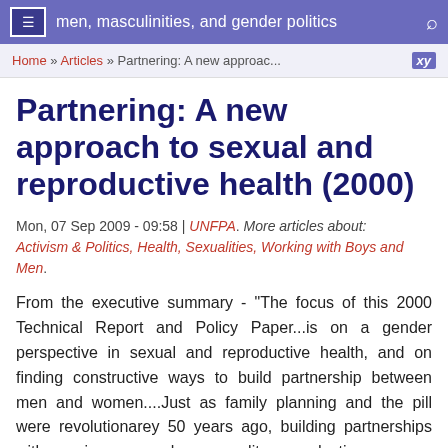men, masculinities, and gender politics
Home » Articles » Partnering: A new approac...
Partnering: A new approach to sexual and reproductive health (2000)
Mon, 07 Sep 2009 - 09:58 | UNFPA. More articles about: Activism & Politics, Health, Sexualities, Working with Boys and Men.
From the executive summary - "The focus of this 2000 Technical Report and Policy Paper...is on a gender perspective in sexual and reproductive health, and on finding constructive ways to build partnership between men and women....Just as family planning and the pill were revolutionarey 50 years ago, building partnerships with men in areas such as sexuality, reproductive